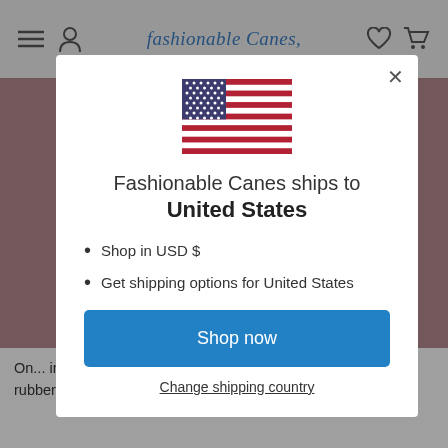fashionable Canes
[Figure (screenshot): A modal dialog on the Fashionable Canes website showing a US flag, text 'Fashionable Canes ships to United States', bullet points 'Shop in USD $' and 'Get shipping options for United States', a blue 'Shop now' button, and a 'Change shipping country' link.]
On... involves using heat. The easiest way to apply he... the rubber tip is to use a hairdryer. This method might work